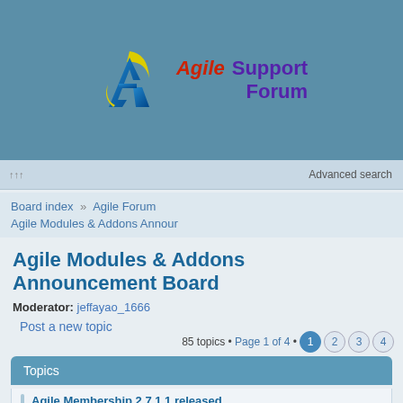[Figure (logo): Agile Support Forum logo with stylized A icon in blue/yellow and purple text reading Support Forum]
Advanced search
Board index  Agile Forum
Agile Modules & Addons Annour
Agile Modules & Addons Announcement Board
Moderator: jeffayao_1666
Post a new topic
85 topics • Page 1 of 4 • 1 2 3 4
Topics
Agile Membership 2.7.1.1 released
by chokinra » Wed Apr 26, 2017 4:28 pm